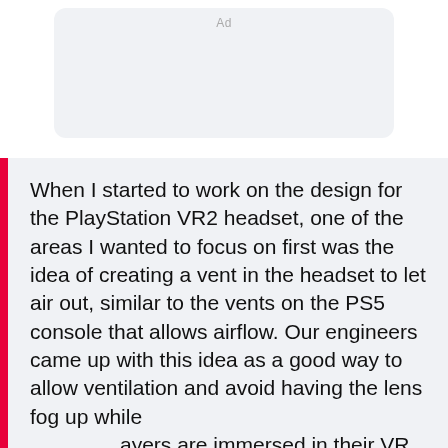[Figure (other): Advertisement placeholder box, light gray with rounded corners, 'Ad' label at top center]
When I started to work on the design for the PlayStation VR2 headset, one of the areas I wanted to focus on first was the idea of creating a vent in the headset to let air out, similar to the vents on the PS5 console that allows airflow. Our engineers came up with this idea as a good way to allow ventilation and avoid having the lens fog up while players are immersed in their VR games. I worked on many design concepts to achieve this, and in the final design, you can see there is a little space in between the top and front surface of the scope